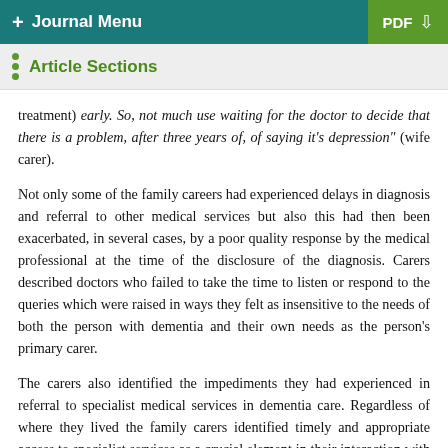+ Journal Menu | PDF
Article Sections
treatment) early. So, not much use waiting for the doctor to decide that there is a problem, after three years of, of saying it's depression" (wife carer).
Not only some of the family careers had experienced delays in diagnosis and referral to other medical services but also this had then been exacerbated, in several cases, by a poor quality response by the medical professional at the time of the disclosure of the diagnosis. Carers described doctors who failed to take the time to listen or respond to the queries which were raised in ways they felt as insensitive to the needs of both the person with dementia and their own needs as the person's primary carer.
The carers also identified the impediments they had experienced in referral to specialist medical services in dementia care. Regardless of where they lived the family carers identified timely and appropriate access to specialist services as a crucial element in their interaction with and confidence of the formal